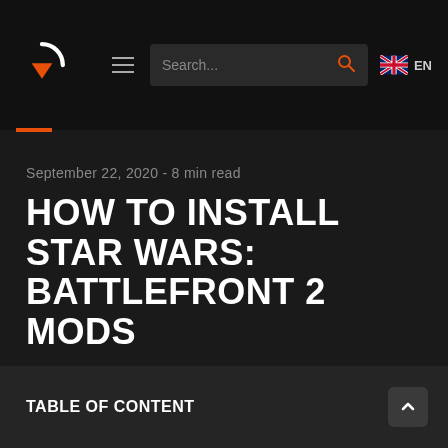Search... EN
September 22, 2020 - 8 min read
HOW TO INSTALL STAR WARS: BATTLEFRONT 2 MODS
TABLE OF CONTENT